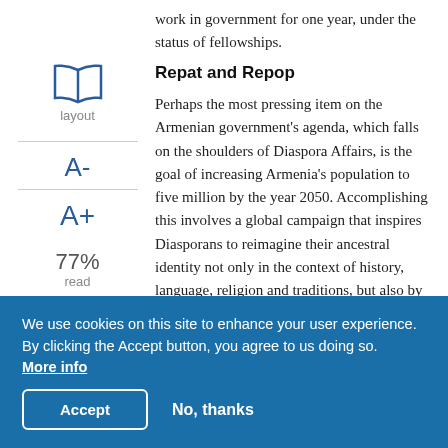work in government for one year, under the status of fellowships.
Repat and Repop
Perhaps the most pressing item on the Armenian government's agenda, which falls on the shoulders of Diaspora Affairs, is the goal of increasing Armenia's population to five million by the year 2050. Accomplishing this involves a global campaign that inspires Diasporans to reimagine their ancestral identity not only in the context of history, language, religion and traditions, but also by relating to Armenia as a
We use cookies on this site to enhance your user experience. By clicking the Accept button, you agree to us doing so. More info
Accept
No, thanks